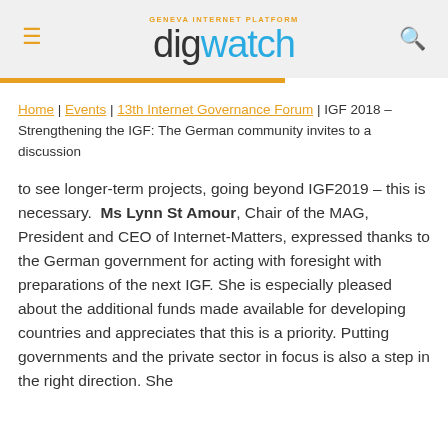GENEVA INTERNET PLATFORM digwatch
Home | Events | 13th Internet Governance Forum | IGF 2018 – Strengthening the IGF: The German community invites to a discussion
to see longer-term projects, going beyond IGF2019 – this is necessary. Ms Lynn St Amour, Chair of the MAG, President and CEO of Internet-Matters, expressed thanks to the German government for acting with foresight with preparations of the next IGF. She is especially pleased about the additional funds made available for developing countries and appreciates that this is a priority. Putting governments and the private sector in focus is also a step in the right direction. She